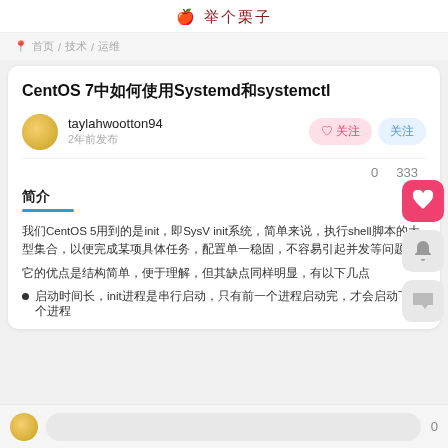举个栗子
首页 / 技术 / 运维
CentOS 7中如何使用Systemd和systemctl
taylahwootton94
2年前发布
0  333
简介
我们CentOS 5用到的是init，即SysV init系统，简单来说，执行shell脚本的大型集合，以便完成某项具体任务，配置单一稳固，不容易一起并发等问题等
它的优点是结构简单，便于理解，但其缺点同样明显，有以下几点
启动时间长，init进程是串行启动，只有前一个进程启动完，才会启动下一个进程